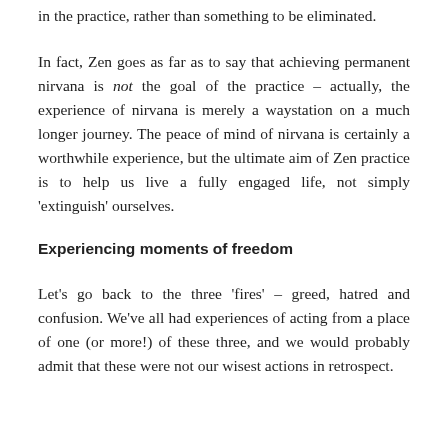in the practice, rather than something to be eliminated.
In fact, Zen goes as far as to say that achieving permanent nirvana is not the goal of the practice – actually, the experience of nirvana is merely a waystation on a much longer journey. The peace of mind of nirvana is certainly a worthwhile experience, but the ultimate aim of Zen practice is to help us live a fully engaged life, not simply 'extinguish' ourselves.
Experiencing moments of freedom
Let's go back to the three 'fires' – greed, hatred and confusion. We've all had experiences of acting from a place of one (or more!) of these three, and we would probably admit that these were not our wisest actions in retrospect.